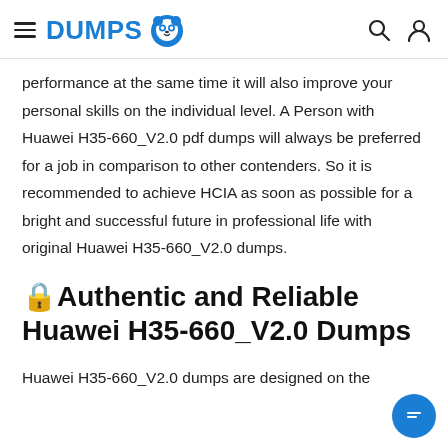DUMPS [logo]
performance at the same time it will also improve your personal skills on the individual level. A Person with Huawei H35-660_V2.0 pdf dumps will always be preferred for a job in comparison to other contenders. So it is recommended to achieve HCIA as soon as possible for a bright and successful future in professional life with original Huawei H35-660_V2.0 dumps.
🔒Authentic and Reliable Huawei H35-660_V2.0 Dumps
Huawei H35-660_V2.0 dumps are designed on the